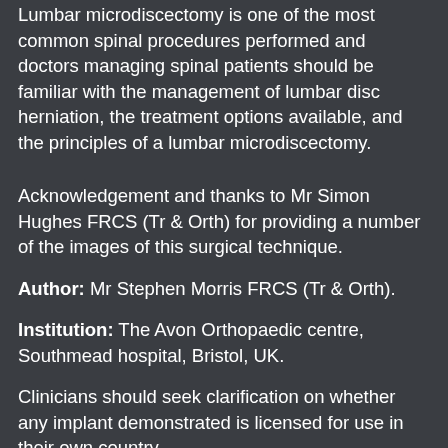Lumbar microdiscectomy is one of the most common spinal procedures performed and doctors managing spinal patients should be familiar with the management of lumbar disc herniation, the treatment options available, and the principles of a lumbar microdiscectomy.
Acknowledgement and thanks to Mr Simon Hughes FRCS (Tr & Orth) for providing a number of the images of this surgical technique.
Author: Mr Stephen Morris FRCS (Tr & Orth).
Institution: The Avon Orthopaedic centre, Southmead hospital, Bristol, UK.
Clinicians should seek clarification on whether any implant demonstrated is licensed for use in their own country.
In the USA contact: fda.gov
In the UK contact: gov.uk